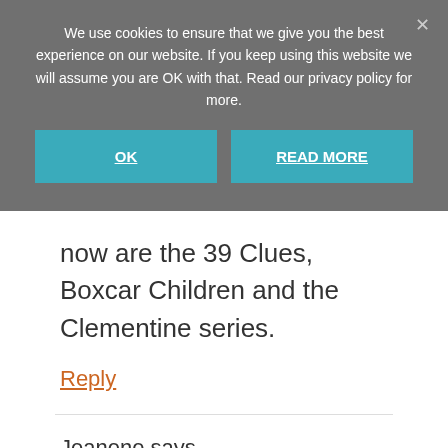We use cookies to ensure that we give you the best experience on our website. If you keep using this website we will assume you are OK with that. Read our privacy policy for more.
OK
READ MORE
now are the 39 Clues, Boxcar Children and the Clementine series.
Reply
Jeanene says
February 28, 2016 at 6:58 pm